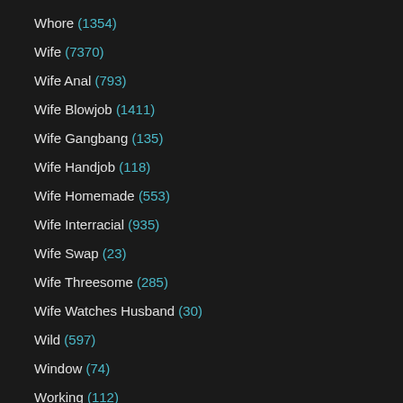Whore (1354)
Wife (7370)
Wife Anal (793)
Wife Blowjob (1411)
Wife Gangbang (135)
Wife Handjob (118)
Wife Homemade (553)
Wife Interracial (935)
Wife Swap (23)
Wife Threesome (285)
Wife Watches Husband (30)
Wild (597)
Window (74)
Working (112)
Workout (158)